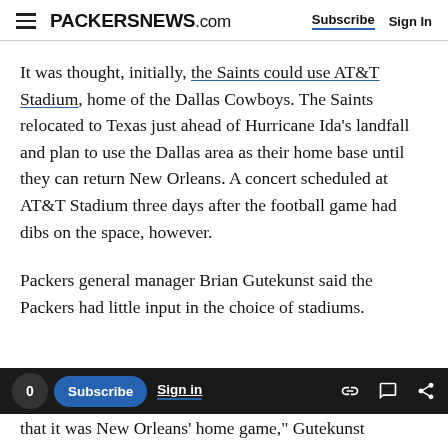PACKERSNEWS.com  Subscribe  Sign In
It was thought, initially, the Saints could use AT&T Stadium, home of the Dallas Cowboys. The Saints relocated to Texas just ahead of Hurricane Ida's landfall and plan to use the Dallas area as their home base until they can return New Orleans. A concert scheduled at AT&T Stadium three days after the football game had dibs on the space, however.
Packers general manager Brian Gutekunst said the Packers had little input in the choice of stadiums.
that it was New Orleans' home game," Gutekunst